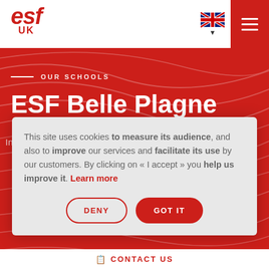[Figure (logo): ESF UK logo in red italic bold text]
[Figure (infographic): UK flag language selector with dropdown arrow and hamburger menu button on red background]
OUR SCHOOLS
ESF Belle Plagne
This site uses cookies to measure its audience, and also to improve our services and facilitate its use by our customers. By clicking on « I accept » you help us improve it. Learn more
DENY
GOT IT
CONTACT US